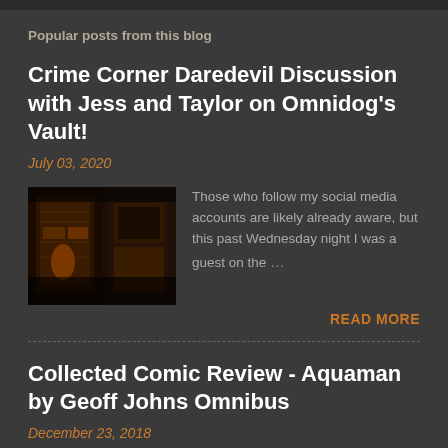Popular posts from this blog
Crime Corner Daredevil Discussion with Jess and Taylor on Omnidog's Vault!
July 03, 2020
[Figure (photo): Thumbnail image showing comic book pages with dark, gritty artwork]
Those who follow my social media accounts are likely already aware, but this past Wednesday night I was a guest on the …
READ MORE
Collected Comic Review - Aquaman by Geoff Johns Omnibus
December 23, 2018